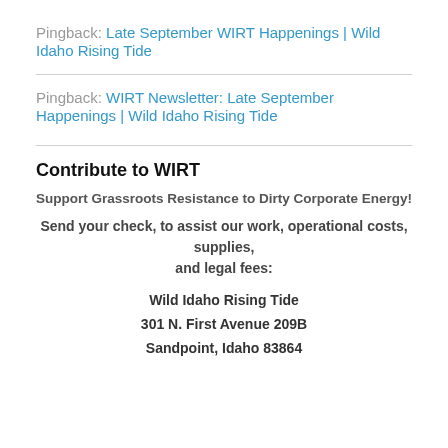Pingback: Late September WIRT Happenings | Wild Idaho Rising Tide
Pingback: WIRT Newsletter: Late September Happenings | Wild Idaho Rising Tide
Contribute to WIRT
Support Grassroots Resistance to Dirty Corporate Energy!
Send your check, to assist our work, operational costs, supplies, and legal fees:
Wild Idaho Rising Tide
301 N. First Avenue 209B
Sandpoint, Idaho 83864